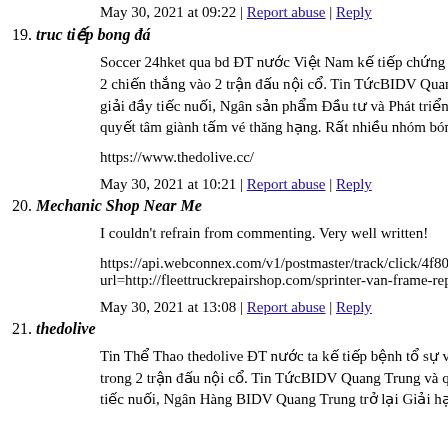May 30, 2021 at 09:22 | Report abuse | Reply
19. truc tiếp bong đá
Soccer 24hket qua bd ĐT nước Việt Nam kế tiếp chứng tỏ s... 2 chiến thắng vào 2 trận đấu nội cổ. Tin TứcBIDV Quang T... giải đầy tiếc nuối, Ngân sản phẩm Đầu tư và Phát triển Qu... quyết tâm giành tấm vé thăng hạng. Rất nhiều nhóm bóng đa...
https://www.thedolive.cc/
May 30, 2021 at 10:21 | Report abuse | Reply
20. Mechanic Shop Near Me
I couldn't refrain from commenting. Very well written!
https://api.webconnex.com/v1/postmaster/track/click/4f8036d1... url=http://fleettruckrepairshop.com/sprinter-van-frame-repair-s...
May 30, 2021 at 13:08 | Report abuse | Reply
21. thedolive
Tin Thể Thao thedolive ĐT nước ta kế tiếp bệnh tổ sự vượt... trong 2 trận đấu nội cổ. Tin TứcBIDV Quang Trung và quá ti... tiếc nuối, Ngân Hàng BIDV Quang Trung trở lại Giải hạng I...